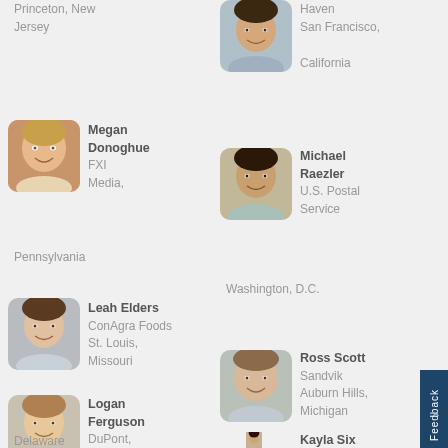Princeton, New Jersey
[Figure (photo): Headshot of a smiling young man]
Haven
San Francisco, California
[Figure (photo): Headshot of a woman smiling]
Megan Donoghue
FXI
Media, Pennsylvania
[Figure (photo): Headshot of a smiling man]
Michael Raezler
U.S. Postal Service
Washington, D.C.
[Figure (photo): Headshot of a woman with dark hair]
Leah Elders
ConAgra Foods
St. Louis, Missouri
[Figure (photo): Headshot of a smiling man]
Ross Scott
Sandvik
Auburn Hills, Michigan
[Figure (photo): Headshot of a young man smiling]
Logan Ferguson
DuPont,
Wilmington, Delaware
[Figure (photo): Headshot of a woman with curly dark hair]
Kayla Six
Anthem, Inc.
Thousand Oaks, California